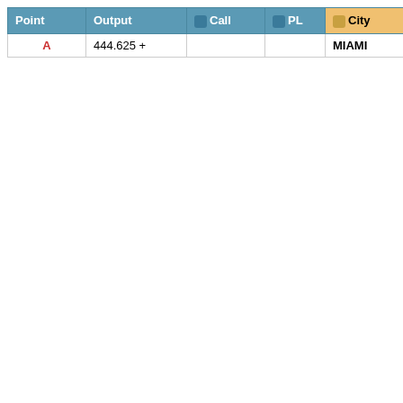| Point | Output | Call | PL | City | State | Show | Com |
| --- | --- | --- | --- | --- | --- | --- | --- |
| A | 444.625 + |  |  | MIAMI | Florida | Local |  |